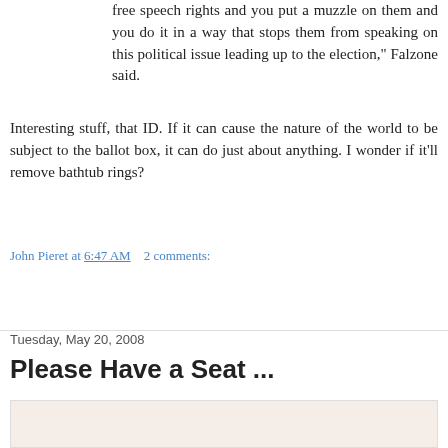free speech rights and you put a muzzle on them and you do it in a way that stops them from speaking on this political issue leading up to the election," Falzone said.
Interesting stuff, that ID. If it can cause the nature of the world to be subject to the ballot box, it can do just about anything. I wonder if it'll remove bathtub rings?
John Pieret at 6:47 AM    2 comments:
Share
Tuesday, May 20, 2008
Please Have a Seat ...
[Figure (photo): Partial view of an image, appears to show a light pinkish/beige background, possibly furniture related to the post title 'Please Have a Seat']